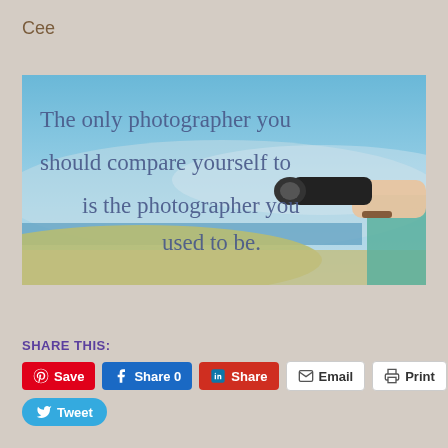Cee
[Figure (photo): A motivational quote image over a beach/sky background reading: 'The only photographer you should compare yourself to is the photographer you used to be.' A person is visible on the right side holding a large camera lens.]
SHARE THIS:
Save | Share 0 | Share | Email | Print | Tweet